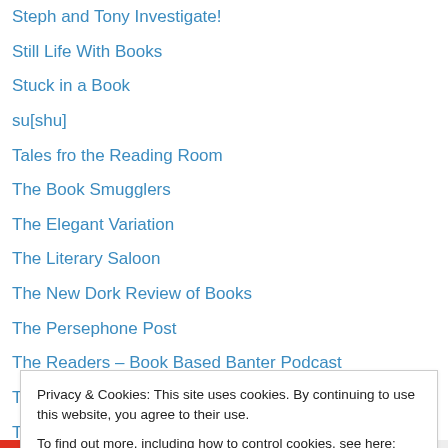Steph and Tony Investigate!
Still Life With Books
Stuck in a Book
su[shu]
Tales fro the Reading Room
The Book Smugglers
The Elegant Variation
The Literary Saloon
The New Dork Review of Books
The Persephone Post
The Readers – Book Based Banter Podcast
The Reading Life
The Riverside Readers
Privacy & Cookies: This site uses cookies. By continuing to use this website, you agree to their use. To find out more, including how to control cookies, see here: Cookie Policy